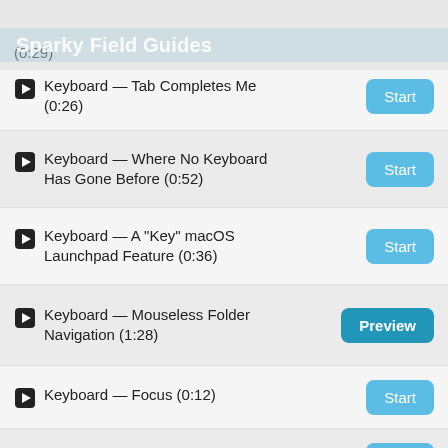(0:29)
Sparky Field Guides
Keyboard — Tab Completes Me (0:26)
Keyboard — Where No Keyboard Has Gone Before (0:52)
Keyboard — A "Key" macOS Launchpad Feature (0:36)
Keyboard — Mouseless Folder Navigation (1:28)
Keyboard — Focus (0:12)
Keyboard — Quitting Quickly (0:26)
Keyboard — Under My Thumb (0:38)